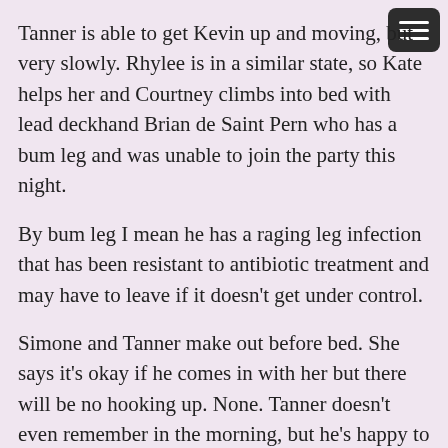Tanner is able to get Kevin up and moving, but very slowly. Rhylee is in a similar state, so Kate helps her and Courtney climbs into bed with lead deckhand Brian de Saint Pern who has a bum leg and was unable to join the party this night.
By bum leg I mean he has a raging leg infection that has been resistant to antibiotic treatment and may have to leave if it doesn't get under control.
Simone and Tanner make out before bed. She says it's okay if he comes in with her but there will be no hooking up. None. Tanner doesn't even remember in the morning, but he's happy to have woken up next to a "hot chick with a phenomenal a**", he's in!